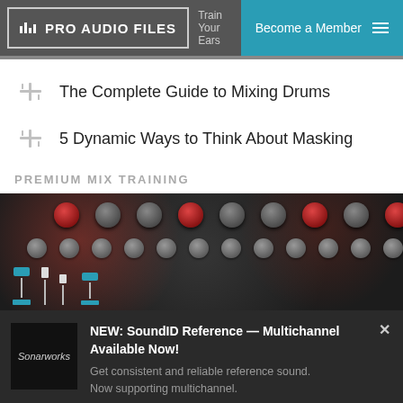PRO AUDIO FILES | Become a Member
The Complete Guide to Mixing Drums
5 Dynamic Ways to Think About Masking
PREMIUM MIX TRAINING
[Figure (photo): Blurred photo of a mixing console/audio hardware with knobs and faders, with blue mixer fader icons overlaid at the bottom left]
NEW: SoundID Reference — Multichannel Available Now! Get consistent and reliable reference sound. Now supporting multichannel.